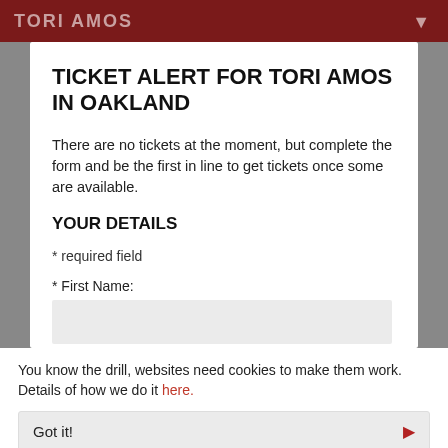TORI AMOS
TICKET ALERT FOR TORI AMOS IN OAKLAND
There are no tickets at the moment, but complete the form and be the first in line to get tickets once some are available.
YOUR DETAILS
* required field
* First Name:
* Last Name:
You know the drill, websites need cookies to make them work. Details of how we do it here.
Got it!